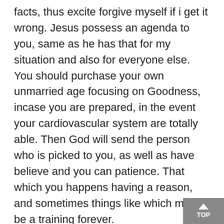facts, thus excite forgive myself if i get it wrong. Jesus possess an agenda to you, same as he has that for my situation and also for everyone else. You should purchase your own unmarried age focusing on Goodness, incase you are prepared, in the event your cardiovascular system are totally able. Then God will send the person who is picked to you, as well as have believe and you can patience. That which you happens having a reason, and sometimes things like which might be a training forever.
i do believe we fulfilled my solmate once i is actually 13 however, the guy and i also ere one another younger in which he ran their means we ran exploit the two of us hitched someone else him another somebody we now have gt to learn one another perfectly and that i believe he could be one i should away from started along with